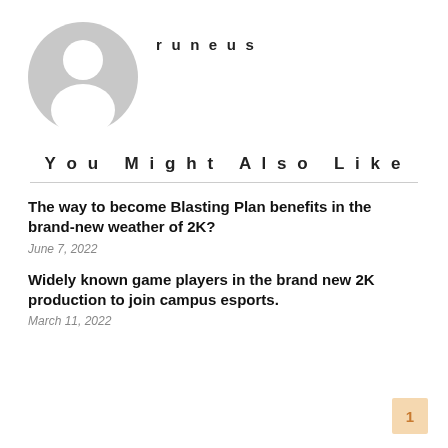[Figure (illustration): Generic user avatar icon — grey circle with silhouette of a person (head and shoulders), no face details]
runeus
You Might Also Like
The way to become Blasting Plan benefits in the brand-new weather of 2K?
June 7, 2022
Widely known game players in the brand new 2K production to join campus esports.
March 11, 2022